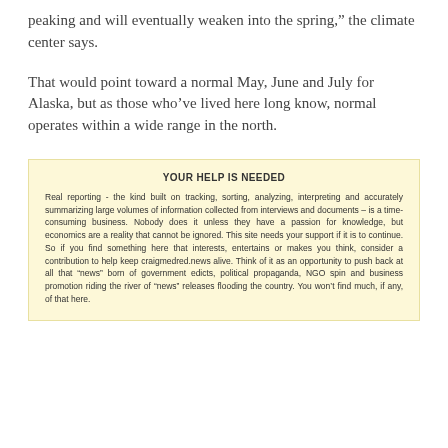peaking and will eventually weaken into the spring,” the climate center says.
That would point toward a normal May, June and July for Alaska, but as those who’ve lived here long know, normal operates within a wide range in the north.
YOUR HELP IS NEEDED
Real reporting - the kind built on tracking, sorting, analyzing, interpreting and accurately summarizing large volumes of information collected from interviews and documents – is a time-consuming business. Nobody does it unless they have a passion for knowledge, but economics are a reality that cannot be ignored. This site needs your support if it is to continue. So if you find something here that interests, entertains or makes you think, consider a contribution to help keep craigmedred.news alive. Think of it as an opportunity to push back at all that “news” born of government edicts, political propaganda, NGO spin and business promotion riding the river of “news” releases flooding the country. You won’t find much, if any, of that here.